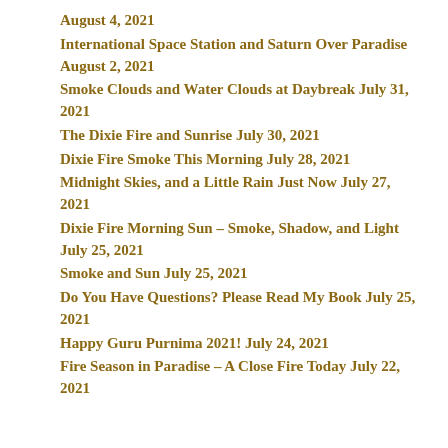August 4, 2021
International Space Station and Saturn Over Paradise August 2, 2021
Smoke Clouds and Water Clouds at Daybreak July 31, 2021
The Dixie Fire and Sunrise July 30, 2021
Dixie Fire Smoke This Morning July 28, 2021
Midnight Skies, and a Little Rain Just Now July 27, 2021
Dixie Fire Morning Sun – Smoke, Shadow, and Light July 25, 2021
Smoke and Sun July 25, 2021
Do You Have Questions? Please Read My Book July 25, 2021
Happy Guru Purnima 2021! July 24, 2021
Fire Season in Paradise – A Close Fire Today July 22, 2021